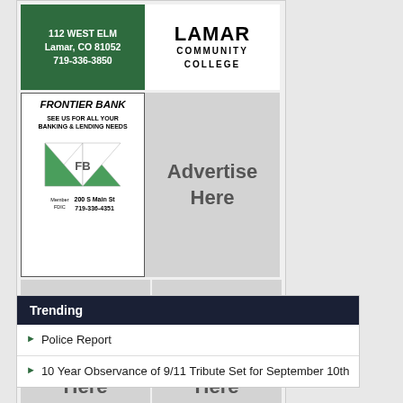[Figure (advertisement): Green background ad for 112 West Elm, Lamar CO 81052, 719-336-3850]
[Figure (logo): Lamar Community College logo with large LAMAR text and COMMUNITY COLLEGE underneath]
[Figure (advertisement): Frontier Bank ad - See us for all your banking and lending needs, FB logo, Member FDIC, 200 S Main St, 719-336-4351]
[Figure (advertisement): Advertise Here placeholder ad (gray)]
[Figure (advertisement): Two Advertise Here placeholder ads side by side (gray)]
Trending
Police Report
10 Year Observance of 9/11 Tribute Set for September 10th